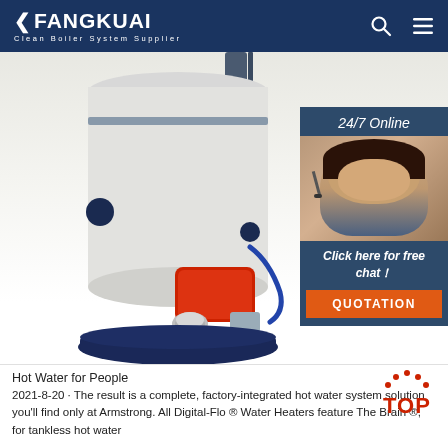FANGKUAI Clean Boiler System Supplier
[Figure (photo): Industrial hot water boiler (white cylindrical tank with red burner and chrome fittings on a dark blue base) with a customer service chat widget overlay showing a woman with a headset, '24/7 Online' text, 'Click here for free chat!' text, and an orange QUOTATION button]
Hot Water for People
2021-8-20 · The result is a complete, factory-integrated hot water system solution you'll find only at Armstrong. All Digital-Flo ® Water Heaters feature The Brain ®, for tankless hot water